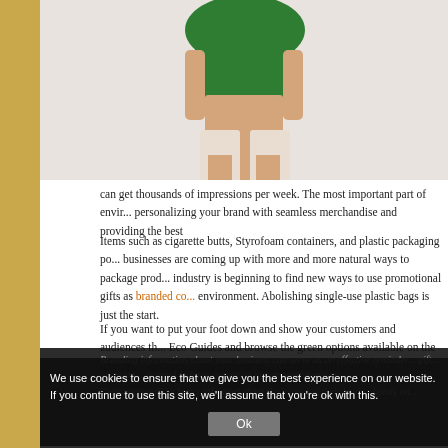[Figure (photo): Partial view of a person wearing a green top and light-colored shorts/clothing, cropped showing torso and legs against a light background]
can get thousands of impressions per week. The most important part of envir... personalizing your brand with seamless merchandise and providing the best ...
Items such as cigarette butts, Styrofoam containers, and plastic packaging po... businesses are coming up with more and more natural ways to package prod... industry is beginning to find new ways to use promotional gifts as branded co... environment. Abolishing single-use plastic bags is just the start.
If you want to put your foot down and show your customers and audiences th... Eco Guides and browse the green options available on the internet. Give thes... customer, or as a company gift at trade fairs, events, and conferences. They ... culture and use.
Branding information about your business can serve as an effective reminder... gift... occasion... ordered in large quantities at competitive prices.
Consumers will be better informed about the impact of their buying habits on...
We use cookies to ensure that we give you the best experience on our website. If you continue to use this site, we'll assume that you're ok with this.